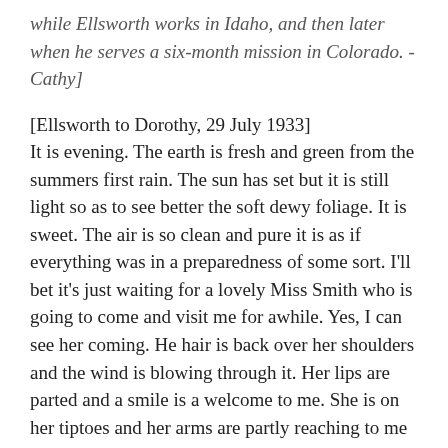while Ellsworth works in Idaho, and then later when he serves a six-month mission in Colorado. -Cathy]
[Ellsworth to Dorothy, 29 July 1933] It is evening. The earth is fresh and green from the summers first rain. The sun has set but it is still light so as to see better the soft dewy foliage. It is sweet. The air is so clean and pure it is as if everything was in a preparedness of some sort. I'll bet it's just waiting for a lovely Miss Smith who is going to come and visit me for awhile. Yes, I can see her coming. He hair is back over her shoulders and the wind is blowing through it. Her lips are parted and a smile is a welcome to me. She is on her tiptoes and her arms are partly reaching to me in welcome. Her eyes are as stars, yet they shine with no glaring light, rather it is a soft brown glow that speaks of love, acknowledgement, trust and